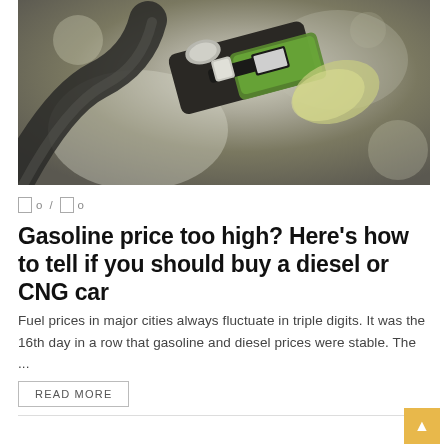[Figure (photo): Close-up photo of a green gasoline pump nozzle being held, with a blurred background.]
0 / 0
Gasoline price too high? Here’s how to tell if you should buy a diesel or CNG car
Fuel prices in major cities always fluctuate in triple digits. It was the 16th day in a row that gasoline and diesel prices were stable. The ...
READ MORE